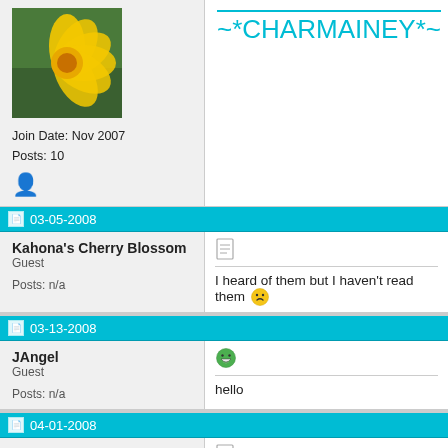[Figure (photo): Yellow flower (dandelion) avatar image]
Join Date: Nov 2007
Posts: 10
~*CHARMAINEY*~
03-05-2008
Kahona's Cherry Blossom
Guest

Posts: n/a
I heard of them but I haven't read them
03-13-2008
JAngel
Guest

Posts: n/a
hello
04-01-2008
L33t D34l3r
Guest